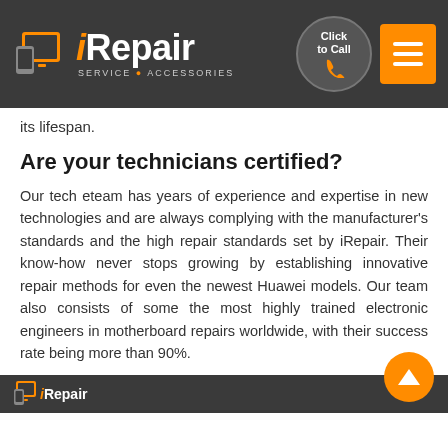[Figure (logo): iRepair logo with orange device icons and text 'iRepair SERVICE ACCESSORIES' on dark background, alongside a 'Click to Call' circular button and orange hamburger menu button]
its lifespan.
Are your technicians certified?
Our tech eteam has years of experience and expertise in new technologies and are always complying with the manufacturer's standards and the high repair standards set by iRepair. Their know-how never stops growing by establishing innovative repair methods for even the newest Huawei models. Our team also consists of some the most highly trained electronic engineers in motherboard repairs worldwide, with their success rate being more than 90%.
[Figure (logo): iRepair logo (partial) on dark footer bar]